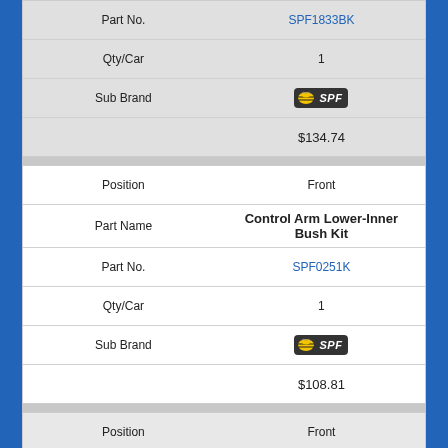| Field | Value |
| --- | --- |
| Part No. | SPF1833BK |
| Qty/Car | 1 |
| Sub Brand | SPF |
|  | $134.74 |
| Field | Value |
| --- | --- |
| Position | Front |
| Part Name | Control Arm Lower-Inner Bush Kit |
| Part No. | SPF0251K |
| Qty/Car | 1 |
| Sub Brand | SPF |
|  | $108.81 |
| Field | Value |
| --- | --- |
| Position | Front |
| Part Name | Spring Insulator Bush Kit |